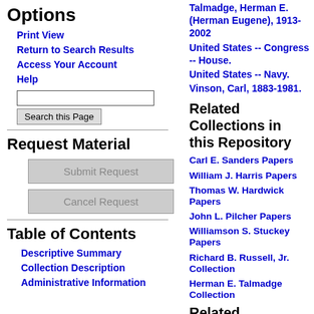Options
Print View
Return to Search Results
Access Your Account
Help
Request Material
Table of Contents
Descriptive Summary
Collection Description
Administrative Information
Talmadge, Herman E. (Herman Eugene), 1913-2002
United States -- Congress -- House.
United States -- Navy.
Vinson, Carl, 1883-1981.
Related Collections in this Repository
Carl E. Sanders Papers
William J. Harris Papers
Thomas W. Hardwick Papers
John L. Pilcher Papers
Williamson S. Stuckey Papers
Richard B. Russell, Jr. Collection
Herman E. Talmadge Collection
Related Collections